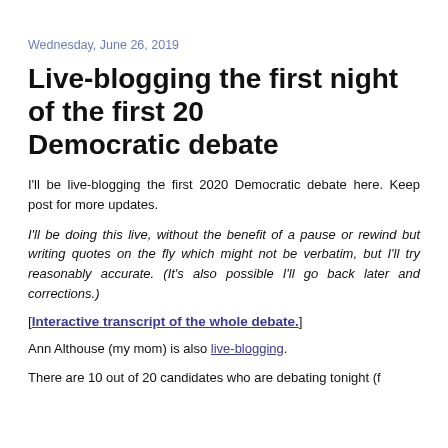Wednesday, June 26, 2019
Live-blogging the first night of the first 20 Democratic debate
I'll be live-blogging the first 2020 Democratic debate here. Keep post for more updates.
I'll be doing this live, without the benefit of a pause or rewind but writing quotes on the fly which might not be verbatim, but I'll try reasonably accurate. (It's also possible I'll go back later ano corrections.)
[Interactive transcript of the whole debate.]
Ann Althouse (my mom) is also live-blogging.
There are 10 out of 20 candidates who are debating tonight (f